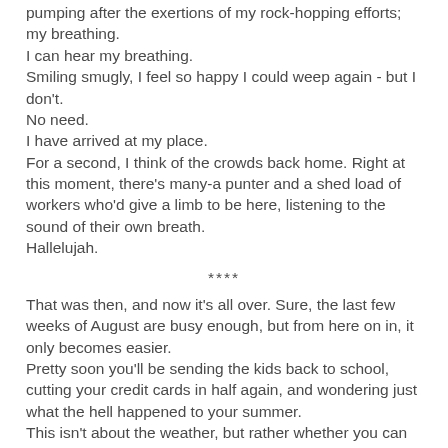pumping after the exertions of my rock-hopping efforts; my breathing.
I can hear my breathing.
Smiling smugly, I feel so happy I could weep again - but I don't.
No need.
I have arrived at my place.
For a second, I think of the crowds back home. Right at this moment, there's many-a punter and a shed load of workers who'd give a limb to be here, listening to the sound of their own breath.
Hallelujah.
****
That was then, and now it's all over. Sure, the last few weeks of August are busy enough, but from here on in, it only becomes easier.
Pretty soon you'll be sending the kids back to school, cutting your credit cards in half again, and wondering just what the hell happened to your summer.
This isn't about the weather, but rather whether you can locate your brain after all that madness.
Last week this column was guilty of a cruel and cold...